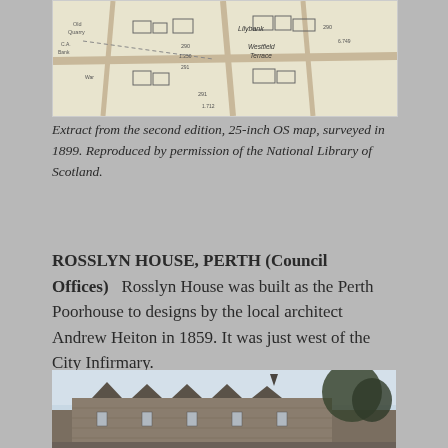[Figure (map): Extract from a 25-inch OS map showing streets and buildings including Westfield Terrace and Lillybank area, surveyed in 1899.]
Extract from the second edition, 25-inch OS map, surveyed in 1899. Reproduced by permission of the National Library of Scotland.
ROSSLYN HOUSE, PERTH (Council Offices)   Rosslyn House was built as the Perth Poorhouse to designs by the local architect Andrew Heiton in 1859. It was just west of the City Infirmary.
[Figure (photo): Photograph of Rosslyn House, Perth — a Victorian stone building with multiple gabled dormers and a spire, with trees visible in the background.]